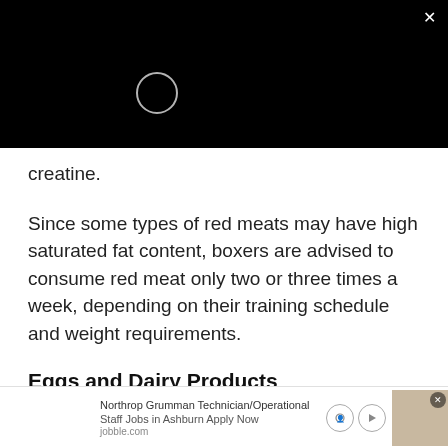[Figure (screenshot): Black video player overlay with a loading spinner circle and a white X close button in the top right corner]
creatine.
Since some types of red meats may have high saturated fat content, boxers are advised to consume red meat only two or three times a week, depending on their training schedule and weight requirements.
Eggs and Dairy Products
Eggs h
[Figure (screenshot): Advertisement banner: Northrop Grumman Technician/Operational Staff Jobs in Ashburn Apply Now, jobble.com, with a photo of a woman and navigation icons]